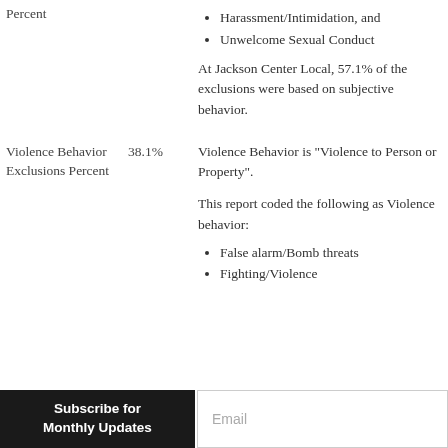Harassment/Intimidation, and
Unwelcome Sexual Conduct
At Jackson Center Local, 57.1% of the exclusions were based on subjective behavior.
|  | Percent | Description |
| --- | --- | --- |
| Violence Behavior Exclusions Percent | 38.1% | Violence Behavior is "Violence to Person or Property".

This report coded the following as Violence behavior:
• False alarm/Bomb threats
• Fighting/Violence |
False alarm/Bomb threats
Fighting/Violence
Subscribe for Monthly Updates
Email